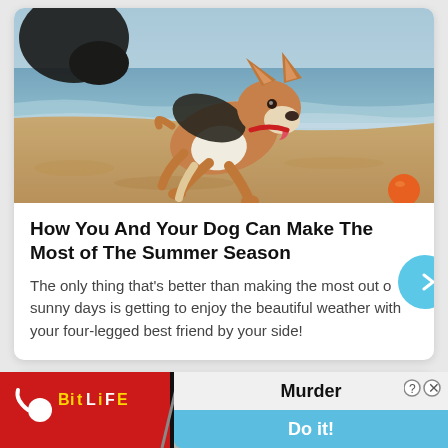[Figure (photo): A Corgi dog running on a sandy beach toward the camera, tongue out, with ocean waves in the background and an orange ball visible in the lower right corner.]
How You And Your Dog Can Make The Most of The Summer Season
The only thing that’s better than making the most out of sunny days is getting to enjoy the beautiful weather with your four-legged best friend by your side!
[Figure (photo): Partially visible second article card at bottom of screen, cut off, showing a snowy or wintry scene.]
[Figure (screenshot): BitLife advertisement banner showing the BitLife logo on a red background on the left side, and 'Murder Do it!' text on a blue/white background on the right side, with a diagonal slash divider.]